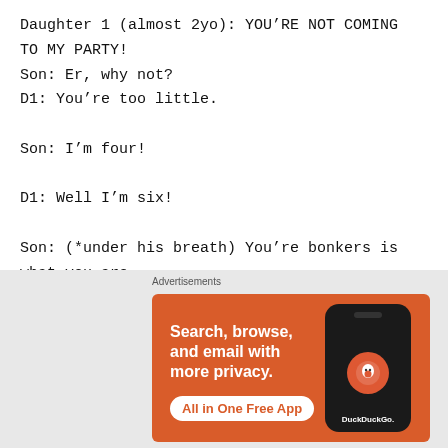Daughter 1 (almost 2yo): YOU'RE NOT COMING TO MY PARTY!
Son: Er, why not?
D1: You're too little.
Son: I'm four!
D1: Well I'm six!
Son: (*under his breath) You're bonkers is what you are…
[Figure (other): DuckDuckGo advertisement banner with orange background showing 'Search, browse, and email with more privacy. All in One Free App' text with a phone displaying the DuckDuckGo logo]